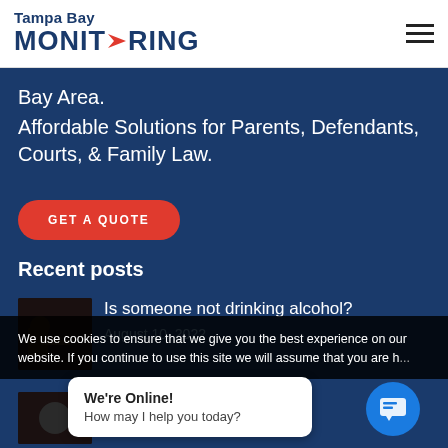Tampa Bay MONITORING
Bay Area.
Affordable Solutions for Parents, Defendants, Courts, & Family Law.
GET A QUOTE
Recent posts
Is someone not drinking alcohol?
August 10, 2022
We use cookies to ensure that we give you the best experience on our website. If you continue to use this site we will assume that you are h...
We're Online!
How may I help you today?